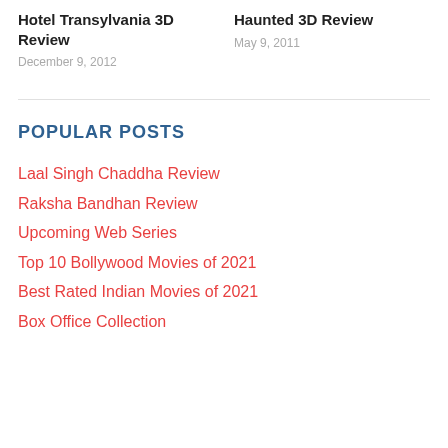Hotel Transylvania 3D Review
December 9, 2012
Haunted 3D Review
May 9, 2011
POPULAR POSTS
Laal Singh Chaddha Review
Raksha Bandhan Review
Upcoming Web Series
Top 10 Bollywood Movies of 2021
Best Rated Indian Movies of 2021
Box Office Collection